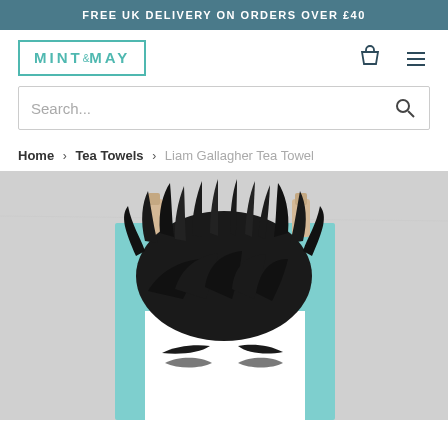FREE UK DELIVERY ON ORDERS OVER £40
[Figure (logo): Mint & May logo in teal/mint color with rectangular border]
Search...
Home › Tea Towels › Liam Gallagher Tea Towel
[Figure (photo): Liam Gallagher tea towel hanging on a clothesline with two wooden pegs, showing a black and white graphic portrait illustration of Liam Gallagher against a light blue background]